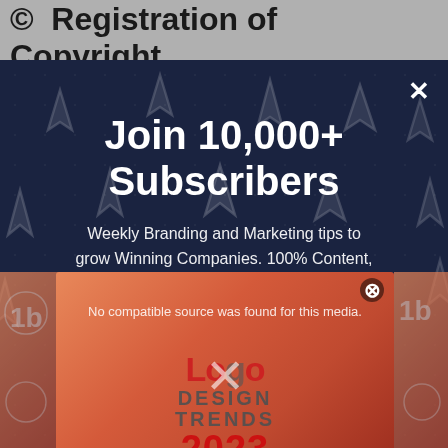Registration of Copyright
[Figure (screenshot): Newsletter subscription modal overlay on dark navy background with cursor/arrow pattern. Contains heading 'Join 10,000+ Subscribers' and subtitle about weekly branding tips.]
Join 10,000+ Subscribers
Weekly Branding and Marketing tips to grow Winning Companies. 100% Content, 0% Spam.
[Figure (screenshot): Video player popup showing 'No compatible source was found for this media.' with Logo Design Trends 2023 cover art. Has close X button. Partially overlaps the subscription modal.]
No compatible source was found for this media.